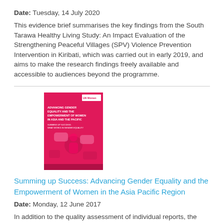Date: Tuesday, 14 July 2020
This evidence brief summarises the key findings from the South Tarawa Healthy Living Study: An Impact Evaluation of the Strengthening Peaceful Villages (SPV) Violence Prevention Intervention in Kiribati, which was carried out in early 2019, and aims to make the research findings freely available and accessible to audiences beyond the programme.
[Figure (photo): Book cover image with pink/red background titled 'Advancing Gender Equality and the Empowerment of Women in Asia and the Pacific' with graphic silhouettes]
Summing up Success: Advancing Gender Equality and the Empowerment of Women in the Asia Pacific Region
Date: Monday, 12 June 2017
In addition to the quality assessment of individual reports, the GERAAS system requires a Meta-Analysis of evaluations to capture the key insights from evaluation reports rated 'satisfactory' or above according to UN Women standards. This ensures that the